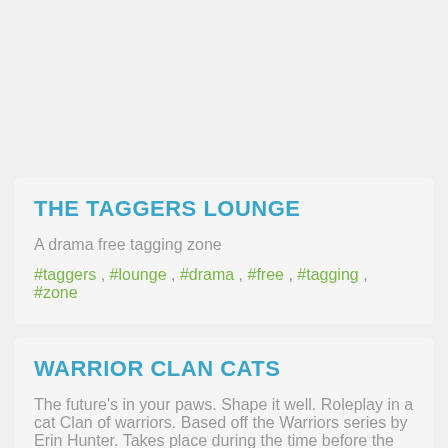THE TAGGERS LOUNGE
A drama free tagging zone
#taggers , #lounge , #drama , #free , #tagging , #zone
WARRIOR CLAN CATS
The future's in your paws. Shape it well. Roleplay in a cat Clan of warriors. Based off the Warriors series by Erin Hunter. Takes place during the time before the cats in the clan receive human...